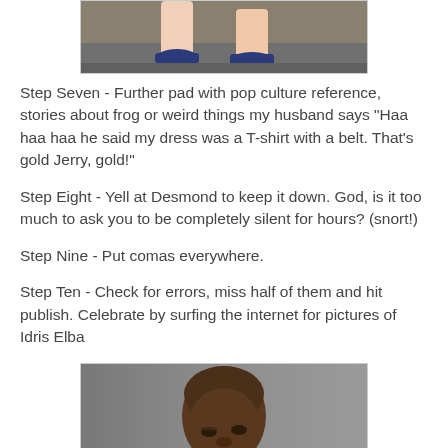[Figure (photo): Top portion of image showing legs wearing blue shoes, walking on pavement]
Step Seven - Further pad with pop culture reference, stories about frog or weird things my husband says "Haa haa haa he said my dress was a T-shirt with a belt. That's gold Jerry, gold!"
Step Eight - Yell at Desmond to keep it down. God, is it too much to ask you to be completely silent for hours? (snort!)
Step Nine - Put comas everywhere.
Step Ten - Check for errors, miss half of them and hit publish. Celebrate by surfing the internet for pictures of Idris Elba
[Figure (photo): Portrait photo of Idris Elba, a Black man with short hair, looking at camera with serious expression against grey background]